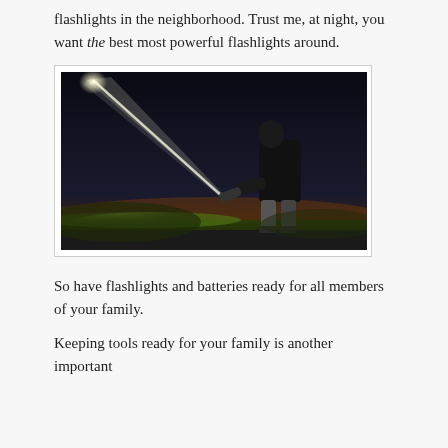flashlights in the neighborhood. Trust me, at night, you want the best most powerful flashlights around.
[Figure (photo): A person standing outdoors at night, shining a very bright flashlight beam across a dark sky. The beam stretches from the person's hand up and to the left, illuminating a spot of light. The ground below shows green grass lit by the flashlight. The background shows a dark night sky with a warm glow on the horizon.]
So have flashlights and batteries ready for all members of your family.
Keeping tools ready for your family is another important